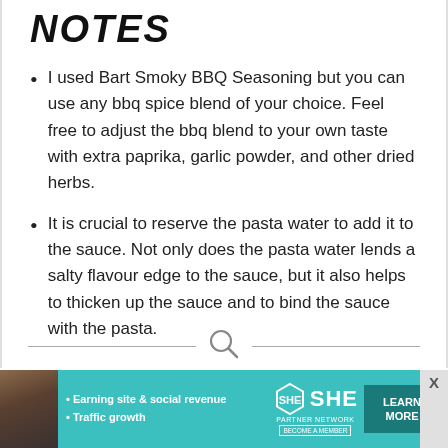NOTES
I used Bart Smoky BBQ Seasoning but you can use any bbq spice blend of your choice. Feel free to adjust the bbq blend to your own taste with extra paprika, garlic powder, and other dried herbs.
It is crucial to reserve the pasta water to add it to the sauce. Not only does the pasta water lends a salty flavour edge to the sauce, but it also helps to thicken up the sauce and to bind the sauce with the pasta.
[Figure (other): Search icon with horizontal divider lines and KEYWORD label below]
[Figure (other): SHE Partner Network advertisement banner with woman photo, bullet points about earning site & social revenue and traffic growth, SHE logo, and LEARN MORE button]